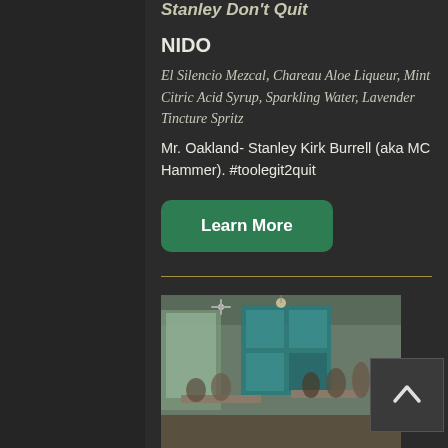Stanley Don't Quit
NIDO
El Silencio Mezcal, Chareau Aloe Liqueur, Mint Citric Acid Syrup, Sparkling Water, Lavender Tincture Spritz
Mr. Oakland- Stanley Kirk Burrell (aka MC Hammer). #toolegit2quit
Learn More
[Figure (photo): Interior photo of a restaurant with people seated at tables, teal/blue decorative wall panels, hanging lights, and wooden beams.]
Stealing Home
Hawking Bird